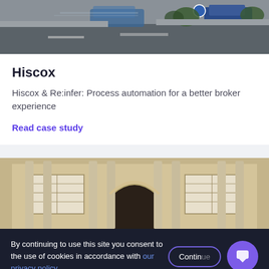[Figure (photo): Street scene with road, a car in motion, bushes and parked car visible at top of page]
Hiscox
Hiscox & Re:infer: Process automation for a better broker experience
Read case study
[Figure (photo): Classical building facade with stone columns, arched doorway and tall windows]
By continuing to use this site you consent to the use of cookies in accordance with our privacy policy.